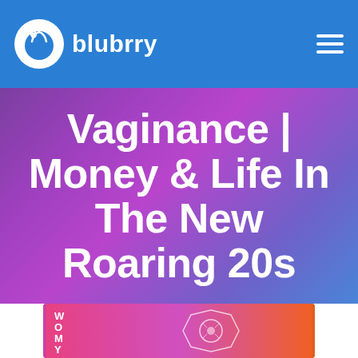blubrry
Vaginance | Money & Life In The New Roaring 20s
[Figure (screenshot): Partial podcast cover art with colorful gradient background showing letters W O M Y and a hexagonal logo icon]